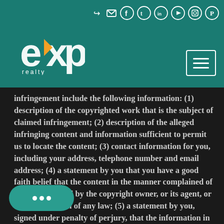[Figure (logo): eXp Realty logo in white and orange on teal background]
[Figure (other): Social media icons (login, email, Facebook, Twitter, LinkedIn, YouTube, Instagram, Pinterest) and hamburger menu button on teal header]
infringement include the following information: (1) description of the copyrighted work that is the subject of claimed infringement; (2) description of the alleged infringing content and information sufficient to permit us to locate the content; (3) contact information for you, including your address, telephone number and email address; (4) a statement by you that you have a good faith belief that the content in the manner complained of is not authorized by the copyright owner, or its agent, or by the operation of any law; (5) a statement by you, signed under penalty of perjury, that the information in the [is accurate and that you have the authority to e[nforce] the copyrights that are claimed to be infringed;